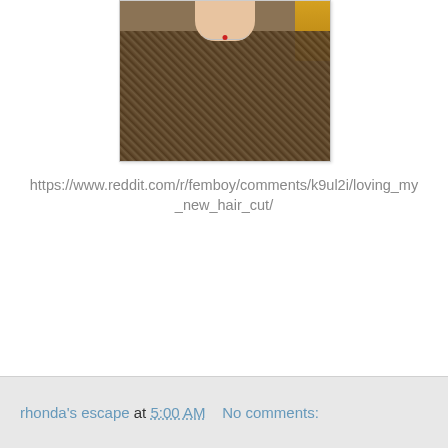[Figure (photo): Partial photo of a person wearing a dark brown/olive knit sweater and a necklace with a small red pendant, with a yellow item visible at the right edge. Only the neck and upper torso area is visible.]
https://www.reddit.com/r/femboy/comments/k9ul2i/loving_my_new_hair_cut/
rhonda's escape at 5:00 AM   No comments: